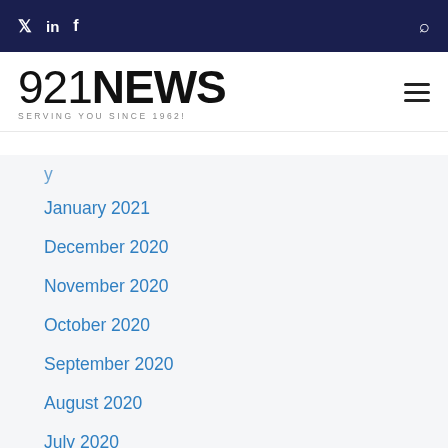921NEWS — SERVING YOU SINCE 1962!
January 2021
December 2020
November 2020
October 2020
September 2020
August 2020
July 2020
June 2020
May 2020
April 2020